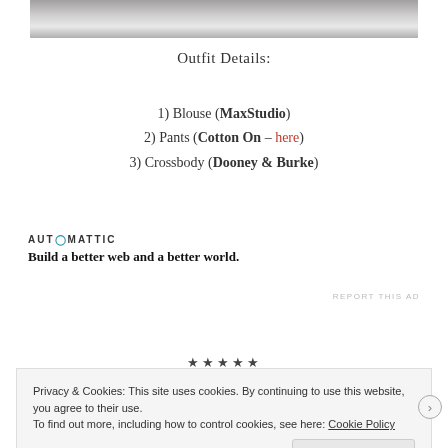[Figure (photo): Partial photo strip at top showing a dining table with glasses and candles]
Outfit Details:
1) Blouse (MaxStudio)
2) Pants (Cotton On – here)
3) Crossbody (Dooney & Burke)
[Figure (logo): Automattic logo and tagline: Build a better web and a better world.]
REPORT THIS AD
★★★★★
Privacy & Cookies: This site uses cookies. By continuing to use this website, you agree to their use. To find out more, including how to control cookies, see here: Cookie Policy
Close and accept